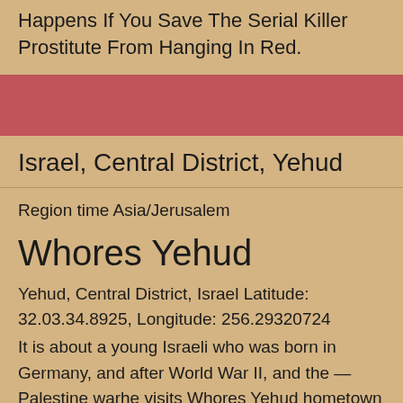Happens If You Save The Serial Killer Prostitute From Hanging In Red.
Israel, Central District, Yehud
Region time Asia/Jerusalem
Whores Yehud
Yehud, Central District, Israel Latitude: 32.03.34.8925, Longitude: 256.29320724
It is about a young Israeli who was born in Germany, and after World War II, and the — Palestine warhe visits Whores Yehud hometown in Germany, recalls his childhood, trying to make sense of the world that created